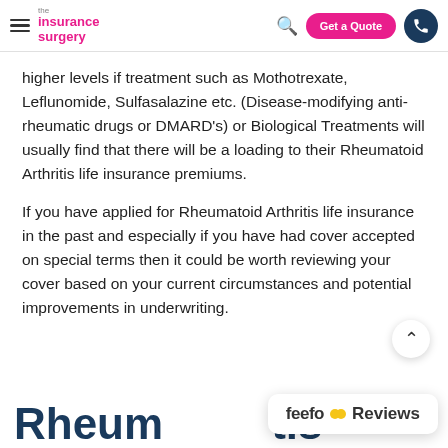the insurance surgery | Get a Quote
higher levels if treatment such as Mothotrexate, Leflunomide, Sulfasalazine etc. (Disease-modifying anti-rheumatic drugs or DMARD's) or Biological Treatments will usually find that there will be a loading to their Rheumatoid Arthritis life insurance premiums.
If you have applied for Rheumatoid Arthritis life insurance in the past and especially if you have had cover accepted on special terms then it could be worth reviewing your cover based on your current circumstances and potential improvements in underwriting.
Rheumatoid Arthritis